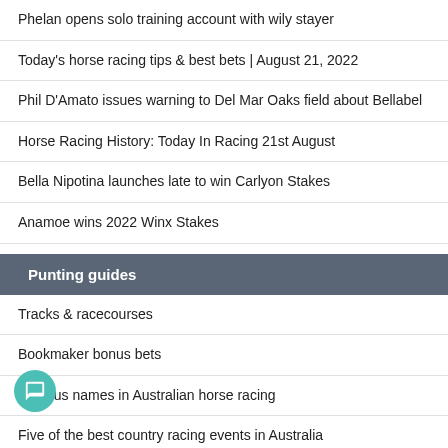Phelan opens solo training account with wily stayer
Today's horse racing tips & best bets | August 21, 2022
Phil D'Amato issues warning to Del Mar Oaks field about Bellabel
Horse Racing History: Today In Racing 21st August
Bella Nipotina launches late to win Carlyon Stakes
Anamoe wins 2022 Winx Stakes
Punting guides
Tracks & racecourses
Bookmaker bonus bets
Famous names in Australian horse racing
Five of the best country racing events in Australia
Horse racing free bets in Australia 2022
Bet types with an on-course bookmaker